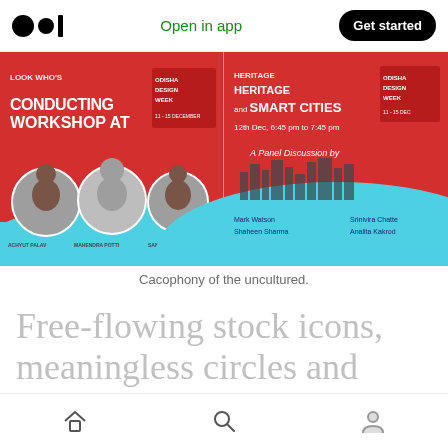Medium logo | Open in app | Get started
[Figure (screenshot): Two promotional event banners side by side. Left banner (red background): 'CONDUCTING WORKSHOP AT' with Odisha Design Week dates 11-15 December and three circular portrait photos of speakers: Achyut Palav, Mahendra Potti, Sandeep Dongre. Right banner (red/cyan background): 'HERITAGE and SMART CITIES' 12th Dec, 6:45 pm to 7:45 pm. A Panel Discussion by: Mark Watson, Shaheen Sharma, Srinivira Chatte, Analita Kakrod.]
Cacophony of the uncultured.
Free-flowing stock icons, meaningless circles and triangles, and an out-of-
Home | Search | Profile